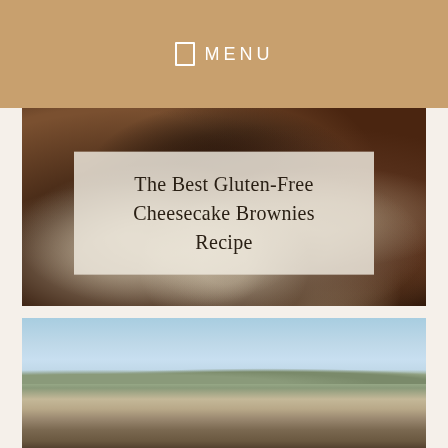MENU
[Figure (photo): Close-up photo of gluten-free cheesecake brownies with cream cheese swirls on dark chocolate brownie base]
The Best Gluten-Free Cheesecake Brownies Recipe
[Figure (photo): Landscape photo of a desert scene with blue sky, distant mountains, flat arid plain with sparse rocky terrain]